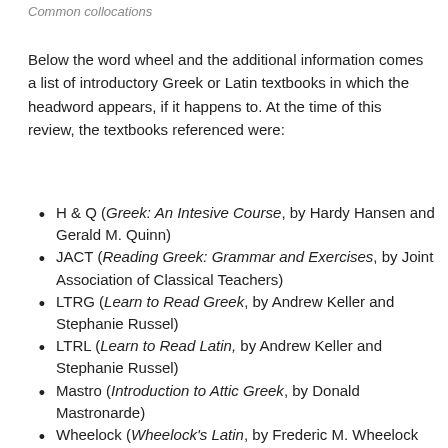Common collocations
Below the word wheel and the additional information comes a list of introductory Greek or Latin textbooks in which the headword appears, if it happens to. At the time of this review, the textbooks referenced were:
H & Q (Greek: An Intesive Course, by Hardy Hansen and Gerald M. Quinn)
JACT (Reading Greek: Grammar and Exercises, by Joint Association of Classical Teachers)
LTRG (Learn to Read Greek, by Andrew Keller and Stephanie Russel)
LTRL (Learn to Read Latin, by Andrew Keller and Stephanie Russel)
Mastro (Introduction to Attic Greek, by Donald Mastronarde)
Wheelock (Wheelock's Latin, by Frederic M. Wheelock and Richard A. LaFleur)